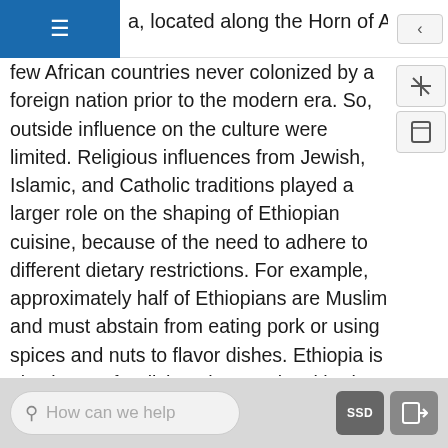a, located along the Horn of Africa, is one of t
few African countries never colonized by a foreign nation prior to the modern era. So, outside influence on the culture were limited. Religious influences from Jewish, Islamic, and Catholic traditions played a larger role on the shaping of Ethiopian cuisine, because of the need to adhere to different dietary restrictions. For example, approximately half of Ethiopians are Muslim and must abstain from eating pork or using spices and nuts to flavor dishes. Ethiopia is also known for dishes that use local herbs and spices, including fenugreek, cumin, cardamom, coriander, saffron, and mustard. Many dishes also reflect a history of vegetarian cooking since meat was not always readily available.Cooking Light. “Ethiopian Tastes.” © 2012
How can we help